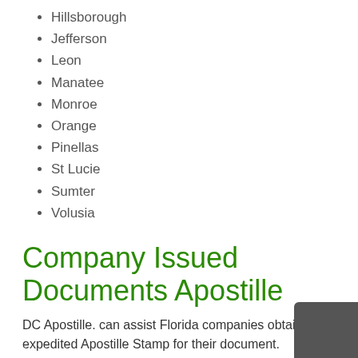Hillsborough
Jefferson
Leon
Manatee
Monroe
Orange
Pinellas
St Lucie
Sumter
Volusia
Company Issued Documents Apostille
DC Apostille. can assist Florida companies obtaining expedited Apostille Stamp for their document.
Document Requirement:
The document must be notarized by a notary public in the State of Florida.
Seller of securities to provide and de...